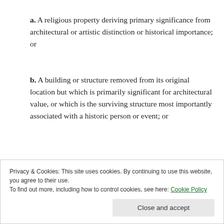a. A religious property deriving primary significance from architectural or artistic distinction or historical importance; or
b. A building or structure removed from its original location but which is primarily significant for architectural value, or which is the surviving structure most importantly associated with a historic person or event; or
c. A birthplace or grave of a historical figure of
Privacy & Cookies: This site uses cookies. By continuing to use this website, you agree to their use. To find out more, including how to control cookies, see here: Cookie Policy
Close and accept